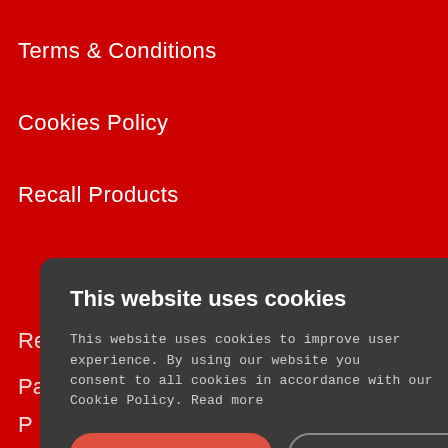Terms & Conditions
Cookies Policy
Recall Products
Re
Pa
P
D
O
[Figure (screenshot): Cookie consent modal dialog with dark background. Contains title 'This website uses cookies', body text about cookie usage, 'ACCEPT ALL' button in red, 'DECLINE ALL' button with outline, and 'SHOW DETAILS' option with gear icon.]